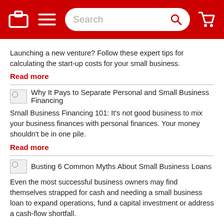Navigation header with logo, menu, search bar, and cart icon
Launching a new venture? Follow these expert tips for calculating the start-up costs for your small business.
Read more
Why It Pays to Separate Personal and Small Business Financing
Small Business Financing 101: It's not good business to mix your business finances with personal finances. Your money shouldn't be in one pile.
Read more
Busting 6 Common Myths About Small Business Loans
Even the most successful business owners may find themselves strapped for cash and needing a small business loan to expand operations, fund a capital investment or address a cash-flow shortfall.
Read more